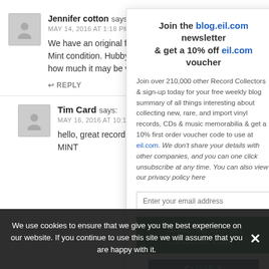Jennifer cotton says: MAY 14, 2016 AT 1:18 PM
We have an original for your pleasure roxy music mirror. Mint condition. Hubby was bought it in 1973. Do u know how much it may be worth today? Thankyou.
REPLY
Tim Card says: MAY 16, 2016 AT 10:18 AM
hello, great record but sold a few back in the day. MINT
[Figure (screenshot): Newsletter signup popup overlay: 'Join the blog.eil.com newsletter & get a 10% off eil.com voucher'. Body text about joining 210,000 collectors. Email input field. Subscribe and get voucher code green button. Close X button.]
We use cookies to ensure that we give you the best experience on our website. If you continue to use this site we will assume that you are happy with it.